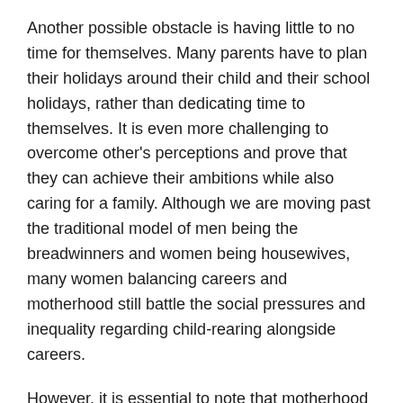Another possible obstacle is having little to no time for themselves. Many parents have to plan their holidays around their child and their school holidays, rather than dedicating time to themselves. It is even more challenging to overcome other's perceptions and prove that they can achieve their ambitions while also caring for a family. Although we are moving past the traditional model of men being the breadwinners and women being housewives, many women balancing careers and motherhood still battle the social pressures and inequality regarding child-rearing alongside careers.
However, it is essential to note that motherhood does not mean you cannot achieve your goals. Increasing numbers of women are taking on leadership positions in the industry and occupying key positions. There are celebrities like Kelly Clarkson, Nicole Kidman, Beyonce, and Jennifer Lopez, who are all working mothers.
Many everyday women continue to tackle the societal norms